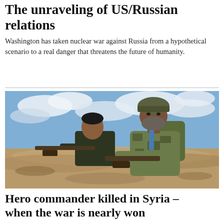The unraveling of US/Russian relations
Washington has taken nuclear war against Russia from a hypothetical scenario to a real danger that threatens the future of humanity.
[Figure (photo): Two soldiers in military gear sitting on arid ground, one holding a rifle. One wears a helmet and camouflage uniform, the other wears dark clothing. Desert landscape with blue sky and clouds in background.]
Hero commander killed in Syria – when the war is nearly won
For most Syrians it seems remarkable. One of the most...